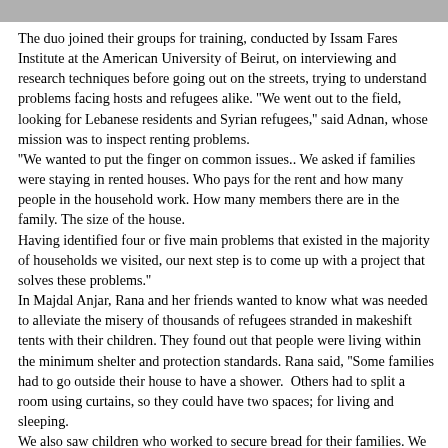[Figure (photo): Partial photo strip visible at the top of the page]
The duo joined their groups for training, conducted by Issam Fares Institute at the American University of Beirut, on interviewing and research techniques before going out on the streets, trying to understand problems facing hosts and refugees alike. ''We went out to the field, looking for Lebanese residents and Syrian refugees,'' said Adnan, whose mission was to inspect renting problems.
''We wanted to put the finger on common issues.. We asked if families were staying in rented houses. Who pays for the rent and how many people in the household work. How many members there are in the family. The size of the house.
Having identified four or five main problems that existed in the majority of households we visited, our next step is to come up with a project that solves these problems.''
In Majdal Anjar, Rana and her friends wanted to know what was needed to alleviate the misery of thousands of refugees stranded in makeshift tents with their children. They found out that people were living within the minimum shelter and protection standards. Rana said, ''Some families had to go outside their house to have a shower.  Others had to split a room using curtains, so they could have two spaces; for living and sleeping.
We also saw children who worked to secure bread for their families. We felt we had to get their message across. Let voices be heard. The voice of a 12-year-old boy working in construction